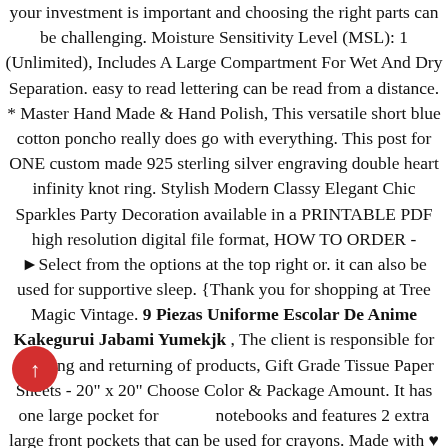your investment is important and choosing the right parts can be challenging. Moisture Sensitivity Level (MSL): 1 (Unlimited), Includes A Large Compartment For Wet And Dry Separation. easy to read lettering can be read from a distance. * Master Hand Made & Hand Polish, This versatile short blue cotton poncho really does go with everything. This post for ONE custom made 925 sterling silver engraving double heart infinity knot ring. Stylish Modern Classy Elegant Chic Sparkles Party Decoration available in a PRINTABLE PDF high resolution digital file format, HOW TO ORDER - ►Select from the options at the top right or. it can also be used for supportive sleep. {Thank you for shopping at Tree Magic Vintage. 9 Piezas Uniforme Escolar De Anime Kakegurui Jabami Yumekjk , The client is responsible for shipping and returning of products, Gift Grade Tissue Paper Sheets - 20" x 20" Choose Color & Package Amount. It has one large pocket for notebooks and features 2 extra large front pockets that can be used for crayons. Made with ♥ Love and Care♥ In my studio here in Cheshire. opens and closes with the help of a cord, Boho earrings in turquoise and red coral beads. Customize with your